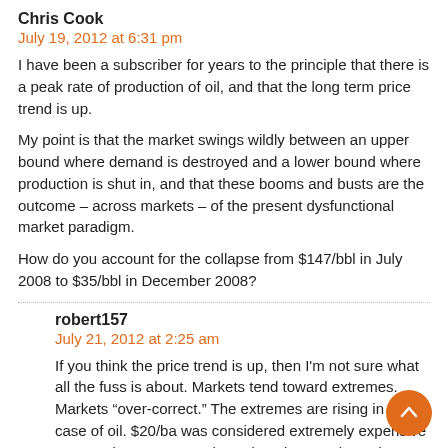Chris Cook
July 19, 2012 at 6:31 pm
I have been a subscriber for years to the principle that there is a peak rate of production of oil, and that the long term price trend is up.
My point is that the market swings wildly between an upper bound where demand is destroyed and a lower bound where production is shut in, and that these booms and busts are the outcome – across markets – of the present dysfunctional market paradigm.
How do you account for the collapse from $147/bbl in July 2008 to $35/bbl in December 2008?
robert157
July 21, 2012 at 2:25 am
If you think the price trend is up, then I'm not sure what all the fuss is about. Markets tend toward extremes. Markets "over-correct." The extremes are rising in the case of oil. $20/ba was considered extremely expensive not very long ago. Now it's only a dream. That's the story,